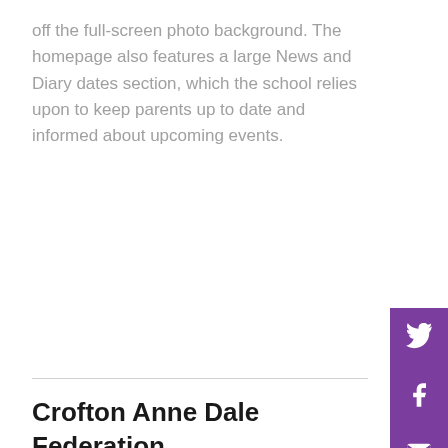off the full-screen photo background. The homepage also features a large News and Diary dates section, which the school relies upon to keep parents up to date and informed about upcoming events.
Crofton Anne Dale Federation